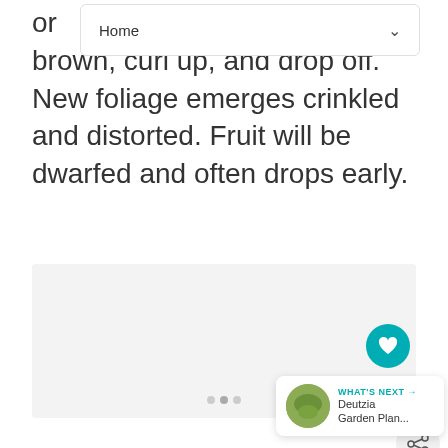Home
or brown, curl up, and drop off. New foliage emerges crinkled and distorted. Fruit will be dwarfed and often drops early.
[Figure (photo): Light gray placeholder image area with carousel dots at the bottom]
WHAT'S NEXT → Deutzia Garden Plan...